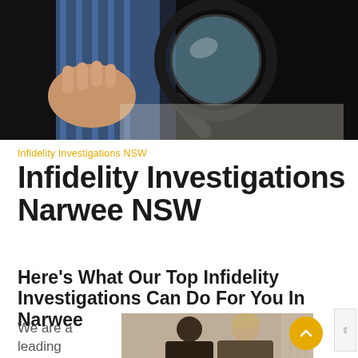[Figure (photo): Person in suit holding a magnifying glass over documents, investigator/detective concept image]
Infidelity Investigations NSW
Infidelity Investigations Narwee NSW
Here's What Our Top Infidelity Investigations Can Do For You In Narwee
We are a leading
[Figure (photo): Two people sitting across from each other, appears to be a meeting or consultation scene]